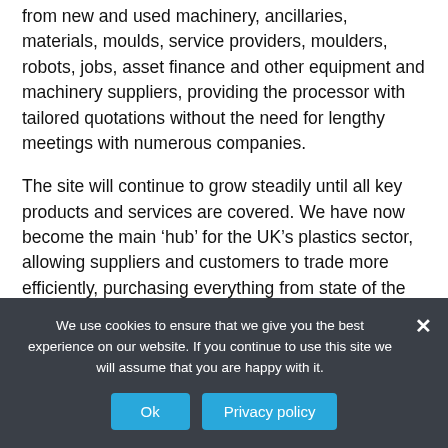from new and used machinery, ancillaries, materials, moulds, service providers, moulders, robots, jobs, asset finance and other equipment and machinery suppliers, providing the processor with tailored quotations without the need for lengthy meetings with numerous companies.
The site will continue to grow steadily until all key products and services are covered. We have now become the main ‘hub’ for the UK’s plastics sector, allowing suppliers and customers to trade more efficiently, purchasing everything from state of the art equipment to consumables, as well as highlighting the abilities and strengths of both product suppliers and service providers.
We use cookies to ensure that we give you the best experience on our website. If you continue to use this site we will assume that you are happy with it.